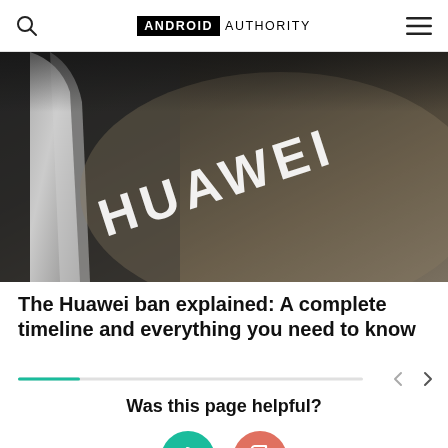ANDROID AUTHORITY
[Figure (photo): Close-up photograph of a Huawei device with the HUAWEI logo visible on a dark metallic silver body]
The Huawei ban explained: A complete timeline and everything you need to know
Was this page helpful?